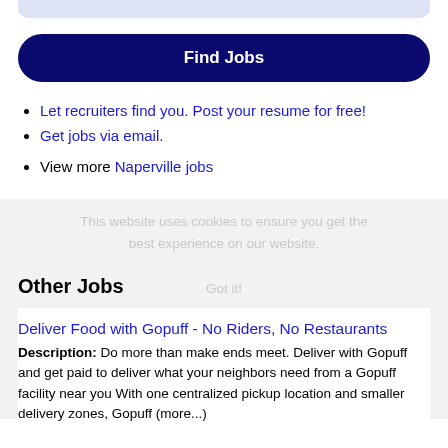[Figure (screenshot): Top search bar partially visible at the top]
Find Jobs
Let recruiters find you. Post your resume for free!
Get jobs via email.
View more Naperville jobs
This website uses cookies to ensure you get the best experience on our website. Got it!
Other Jobs
Deliver Food with Gopuff - No Riders, No Restaurants
Description: Do more than make ends meet. Deliver with Gopuff and get paid to deliver what your neighbors need from a Gopuff facility near you With one centralized pickup location and smaller delivery zones, Gopuff (more...)